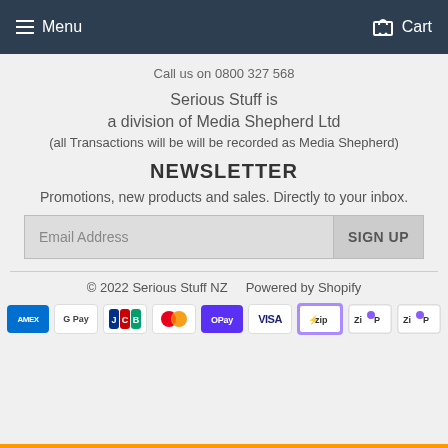Menu   Cart
Call us on 0800 327 568
Serious Stuff is

a division of Media Shepherd Ltd

(all Transactions will be will be recorded as Media Shepherd)
NEWSLETTER
Promotions, new products and sales. Directly to your inbox.
Email Address   SIGN UP
© 2022 Serious Stuff NZ    Powered by Shopify